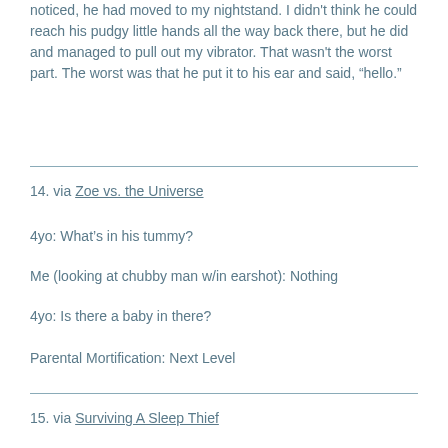noticed, he had moved to my nightstand. I didn't think he could reach his pudgy little hands all the way back there, but he did and managed to pull out my vibrator. That wasn't the worst part. The worst was that he put it to his ear and said, “hello.”
14. via Zoe vs. the Universe
4yo: What’s in his tummy?
Me (looking at chubby man w/in earshot): Nothing
4yo: Is there a baby in there?
Parental Mortification: Next Level
15. via Surviving A Sleep Thief